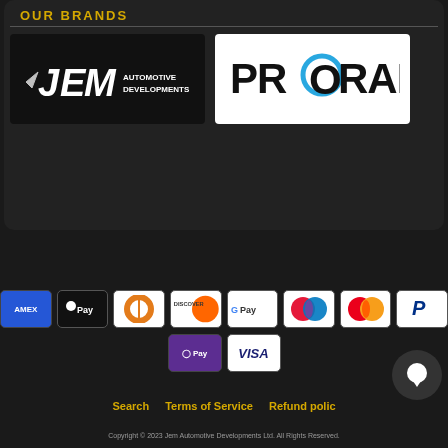OUR BRANDS
[Figure (logo): JEM Automotive Developments logo - white text on dark background]
[Figure (logo): PRORAM logo - dark text with blue O on white background]
[Figure (other): Payment method icons: Amex, Apple Pay, Diners Club, Discover, Google Pay, Maestro, Mastercard, PayPal, G Pay, Visa]
Search   Terms of Service   Refund policy
Copyright © 2023 Jem Automotive Developments Ltd. All Rights Reserved.